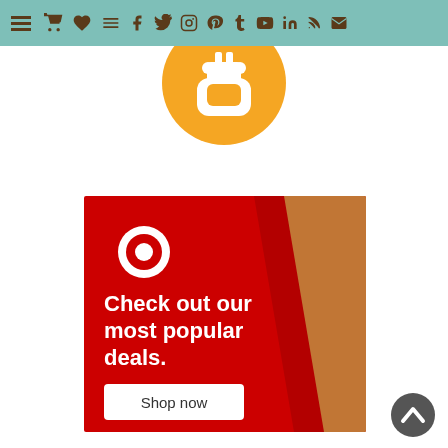Navigation bar with menu and social icons
[Figure (logo): Orange circle logo with a USB drive / magnet icon with eyes, white icon on orange background]
[Figure (infographic): Target store advertisement: red background with diagonal gold stripe, Target bullseye logo, text 'Check out our most popular deals.' and 'Shop now' button]
[Figure (other): Back to top chevron arrow button, dark gray on white circle]